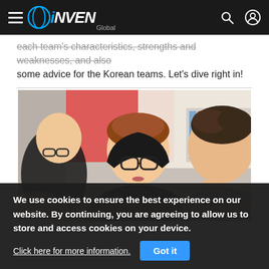INVEN Global
each team's characteristics, strengths and weaknesses, and also some advice for the Korean teams. Let's dive right in!
[Figure (photo): Three young Asian men sitting together, presumably esports players, in what appears to be a classroom or training facility setting. The person in the center wears a black hoodie and glasses.]
We use cookies to ensure the best experience on our website. By continuing, you are agreeing to allow us to store and access cookies on your device.
Click here for more information.  Got it